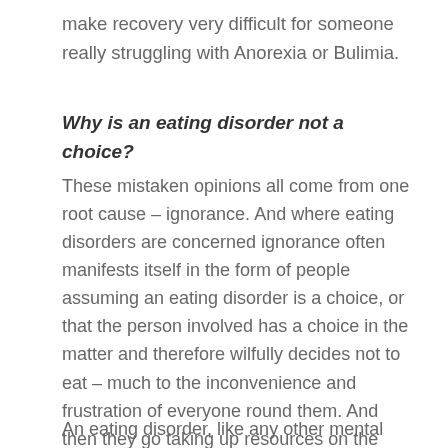make recovery very difficult for someone really struggling with Anorexia or Bulimia.
Why is an eating disorder not a choice?
These mistaken opinions all come from one root cause – ignorance. And where eating disorders are concerned ignorance often manifests itself in the form of people assuming an eating disorder is a choice, or that the person involved has a choice in the matter and therefore wilfully decides not to eat – much to the inconvenience and frustration of everyone round them. And then they go taking up resources on the NHS and make themselves incredibly poorly. How selfish.
An eating disorder, like any other mental and physical